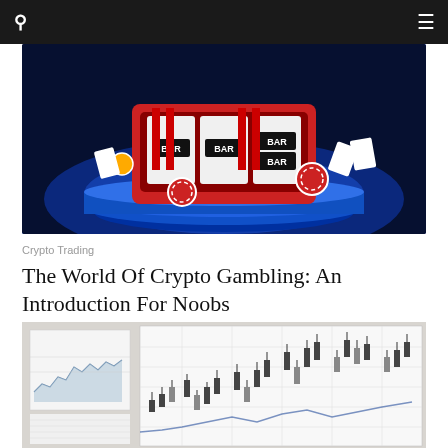[Figure (photo): Casino slot machine with BAR symbols, red poker chips, and playing cards on a glowing blue platform]
Crypto Trading
The World Of Crypto Gambling: An Introduction For Noobs
[Figure (screenshot): Monitor displaying financial/crypto trading charts with candlestick and line graphs]